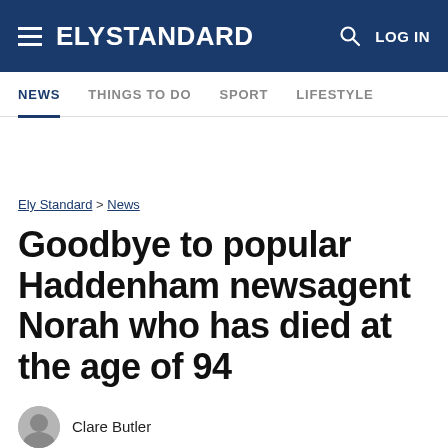ELY STANDARD — LOG IN
NEWS   THINGS TO DO   SPORT   LIFESTYLE
Ely Standard > News
Goodbye to popular Haddenham newsagent Norah who has died at the age of 94
Clare Butler